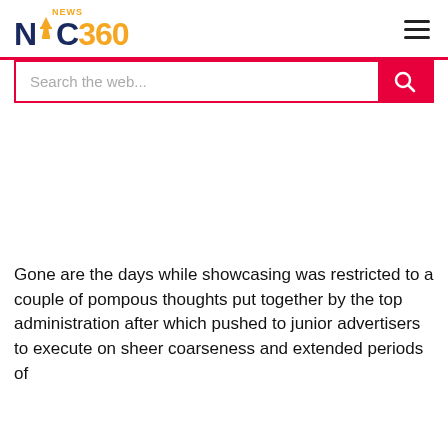NAC 360 NEWS
[Figure (screenshot): Search bar with placeholder text 'Search the web...' and a pink/red search button with magnifying glass icon]
Gone are the days while showcasing was restricted to a couple of pompous thoughts put together by the top administration after which pushed to junior advertisers to execute on sheer coarseness and extended periods of